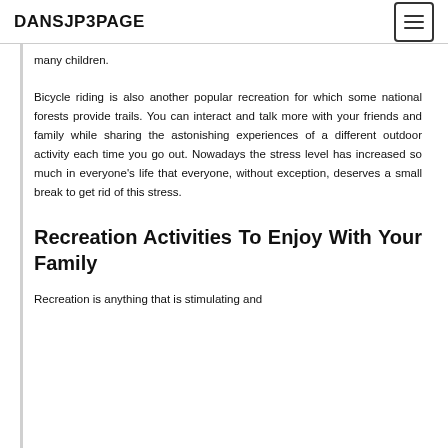DANSJP3PAGE
many children.
Bicycle riding is also another popular recreation for which some national forests provide trails. You can interact and talk more with your friends and family while sharing the astonishing experiences of a different outdoor activity each time you go out. Nowadays the stress level has increased so much in everyone's life that everyone, without exception, deserves a small break to get rid of this stress.
Recreation Activities To Enjoy With Your Family
Recreation is anything that is stimulating and